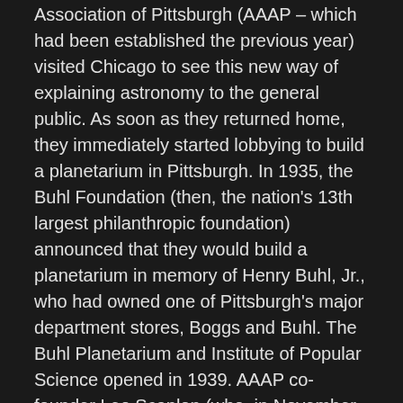Association of Pittsburgh (AAAP – which had been established the previous year) visited Chicago to see this new way of explaining astronomy to the general public. As soon as they returned home, they immediately started lobbying to build a planetarium in Pittsburgh. In 1935, the Buhl Foundation (then, the nation's 13th largest philanthropic foundation) announced that they would build a planetarium in memory of Henry Buhl, Jr., who had owned one of Pittsburgh's major department stores, Boggs and Buhl. The Buhl Planetarium and Institute of Popular Science opened in 1939. AAAP co-founder Leo Scanlon (who, in November of 1930, had constructed the world's first all-aluminum astronomical observatory dome) was one of the first two Buhl Planetarium lecturers.
In 1995, Mr. Walsh petitioned Pittsburgh City Council for a special public hearing on the proposed sale of